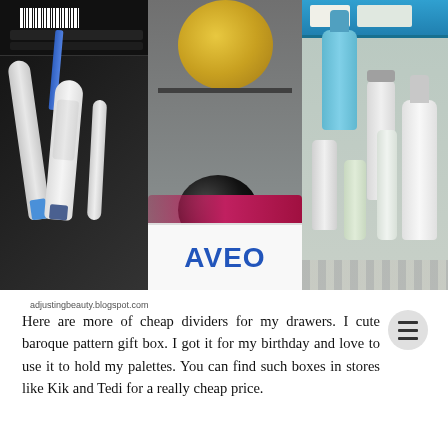[Figure (photo): Photo showing contents of drawers/organizers with beauty/personal care products: left panel has dark box with barcode and cream/lotion tubes (Effaclar, Avène products), center panel has gold jar, blue lid jar, dark jar, and AVEO brand box at bottom, right panel shows a teal/blue organizer tray with multiple white bottles and containers.]
adjustingbeauty.blogspot.com
Here are more of cheap dividers for my drawers. I cute baroque pattern gift box. I got it for my birthday and love to use it to hold my palettes. You can find such boxes in stores like Kik and Tedi for a really cheap price.